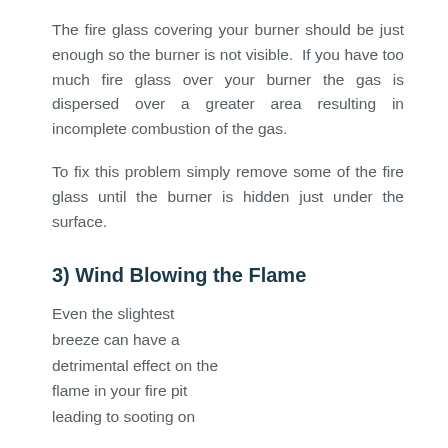The fire glass covering your burner should be just enough so the burner is not visible.  If you have too much fire glass over your burner the gas is dispersed over a greater area resulting in incomplete combustion of the gas.
To fix this problem simply remove some of the fire glass until the burner is hidden just under the surface.
3) Wind Blowing the Flame
Even the slightest breeze can have a detrimental effect on the flame in your fire pit leading to sooting on